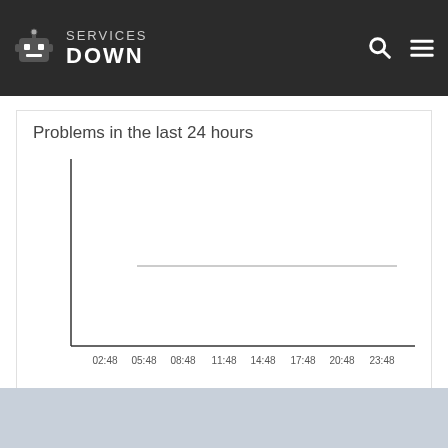SERVICES DOWN
Problems in the last 24 hours
[Figure (continuous-plot): A line chart showing problems in the last 24 hours. The x-axis shows time labels: 02:48, 05:48, 08:48, 11:48, 14:48, 17:48, 20:48, 23:48. The y-axis has no labeled values. The chart area is mostly empty with a single flat horizontal light-gray line near the middle, indicating no significant activity.]